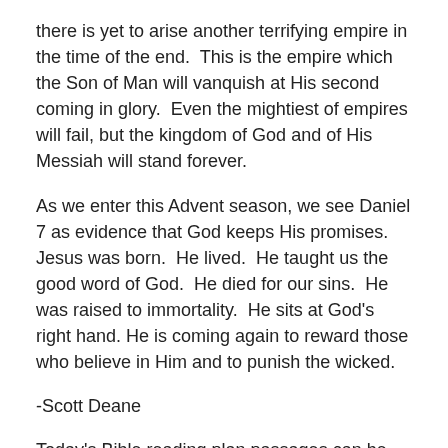there is yet to arise another terrifying empire in the time of the end.  This is the empire which the Son of Man will vanquish at His second coming in glory.  Even the mightiest of empires will fail, but the kingdom of God and of His Messiah will stand forever.
As we enter this Advent season, we see Daniel 7 as evidence that God keeps His promises.  Jesus was born.  He lived.  He taught us the good word of God.  He died for our sins.  He was raised to immortality.  He sits at God's right hand. He is coming again to reward those who believe in Him and to punish the wicked.
-Scott Deane
Today's Bible reading plan passages can be read or listened to at BibleGateway.com here – Daniel 7 & 8 and